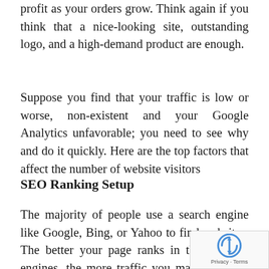profit as your orders grow. Think again if you think that a nice-looking site, outstanding logo, and a high-demand product are enough.
Suppose you find that your traffic is low or worse, non-existent and your Google Analytics unfavorable; you need to see why and do it quickly. Here are the top factors that affect the number of website visitors
SEO Ranking Setup
The majority of people use a search engine like Google, Bing, or Yahoo to find websites. The better your page ranks in these search engines, the more traffic you may expect to see on your website. Search optimization, both on and off your website, ca you improve your search engine rating. Include